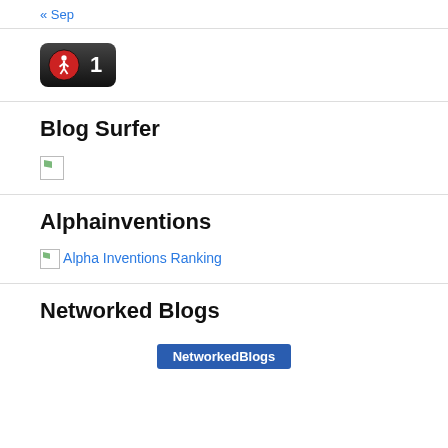« Sep
[Figure (other): Dark rounded badge widget with a red pedestrian icon on the left and the number 1 in white on the right]
Blog Surfer
[Figure (other): Small broken image placeholder icon (green/white square)]
Alphainventions
[Figure (other): Broken image placeholder with link text 'Alpha Inventions Ranking']
Networked Blogs
[Figure (other): Partial view of a NetworkedBlogs blue button widget]